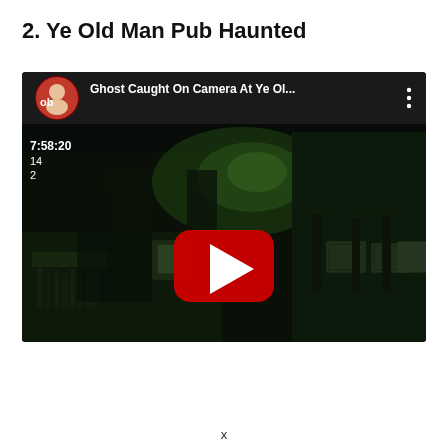2. Ye Old Man Pub Haunted
[Figure (screenshot): YouTube video thumbnail showing 'Ghost Caught On Camera At Ye Ol...' with a dark green-tinted night vision image of a pub interior. The video player shows a timestamp of 7:58:20. A red YouTube play button is centered over the thumbnail. A circular avatar of a man is shown in the top-left corner next to the video title. A three-dot menu icon appears at the top right.]
x